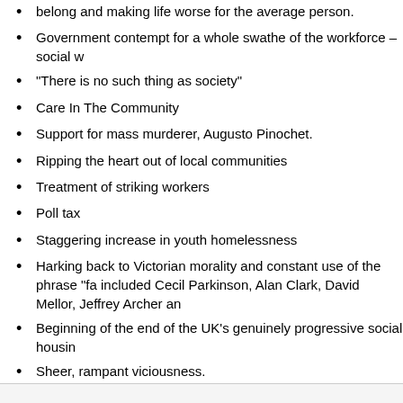belong and making life worse for the average person.
Government contempt for a whole swathe of the workforce – social w
“There is no such thing as society”
Care In The Community
Support for mass murderer, Augusto Pinochet.
Ripping the heart out of local communities
Treatment of striking workers
Poll tax
Staggering increase in youth homelessness
Harking back to Victorian morality and constant use of the phrase “fa included Cecil Parkinson, Alan Clark, David Mellor, Jeffrey Archer an
Beginning of the end of the UK’s genuinely progressive social housin
Sheer, rampant viciousness.
On the positive side…
Before entering politics was part of the team that developed soft-sco
… but as much as I like ice-cream… well.